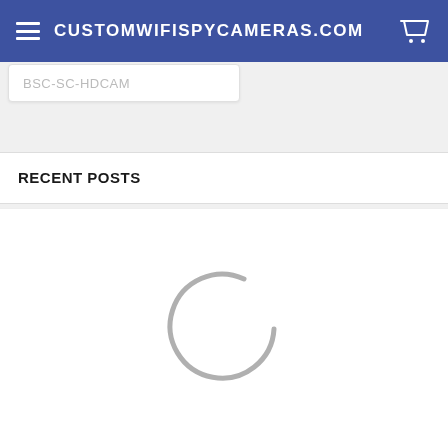CUSTOMWIFISPYCAMERAS.COM
BSC-SC-HDCAM
RECENT POSTS
[Figure (other): Loading spinner – a partial circle arc in light gray indicating content is loading]